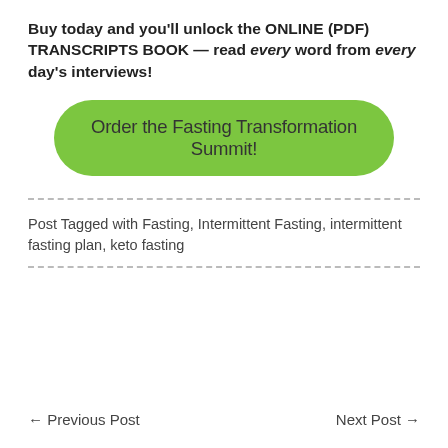Buy today and you'll unlock the ONLINE (PDF) TRANSCRIPTS BOOK — read every word from every day's interviews!
[Figure (other): Green rounded button with text 'Order the Fasting Transformation Summit!']
Post Tagged with Fasting, Intermittent Fasting, intermittent fasting plan, keto fasting
← Previous Post    Next Post →